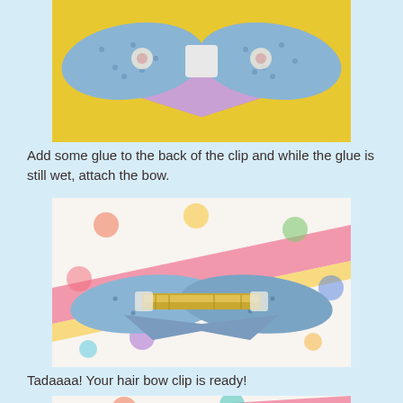[Figure (photo): A blue polka-dot fabric bow with floral embellishment, shown from the front, on a yellow and purple fabric background]
Add some glue to the back of the clip and while the glue is still wet, attach the bow.
[Figure (photo): Back view of a blue polka-dot fabric bow with a metal hair clip attached, on a colorful polka-dot background with pink and yellow diagonal stripes]
Tadaaaa!  Your hair bow clip is ready!
[Figure (photo): Partial view of colorful polka-dot background, bottom cropped photo]